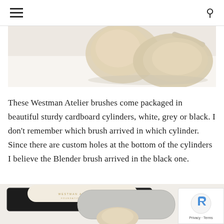navigation header with hamburger menu and search icon
[Figure (photo): Close-up photo of two large Westman Atelier makeup brushes with fluffy beige/tan brush heads on a white surface]
These Westman Atelier brushes come packaged in beautiful sturdy cardboard cylinders, white, grey or black. I don't remember which brush arrived in which cylinder. Since there are custom holes at the bottom of the cylinders I believe the Blender brush arrived in the black one.
[Figure (photo): Photo of three Westman Atelier cardboard brush cylinders (black, white, and grey) laid on a white surface, with a brush tip visible at the bottom]